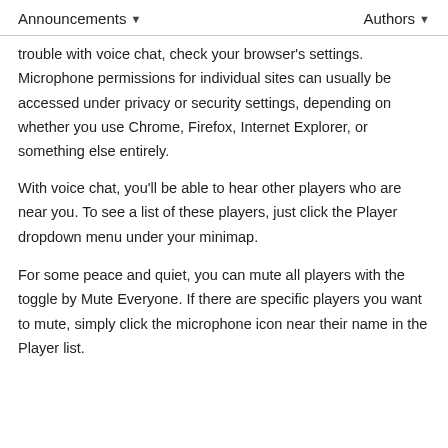Announcements ▾   Authors ▾
trouble with voice chat, check your browser's settings. Microphone permissions for individual sites can usually be accessed under privacy or security settings, depending on whether you use Chrome, Firefox, Internet Explorer, or something else entirely.
With voice chat, you'll be able to hear other players who are near you. To see a list of these players, just click the Player dropdown menu under your minimap.
For some peace and quiet, you can mute all players with the toggle by Mute Everyone. If there are specific players you want to mute, simply click the microphone icon near their name in the Player list.